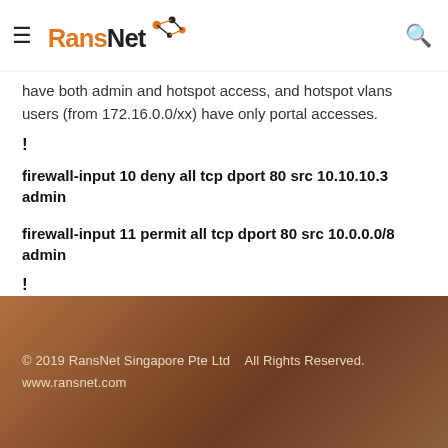RansNet
have both admin and hotspot access, and hotspot vlans users (from 172.16.0.0/xx) have only portal accesses.
!
firewall-input 10 deny all tcp dport 80 src 10.10.10.3 admin
firewall-input 11 permit all tcp dport 80 src 10.0.0.0/8 admin
!
© 2019 RansNet Singapore Pte Ltd   All Rights Reserved.
www.ransnet.com